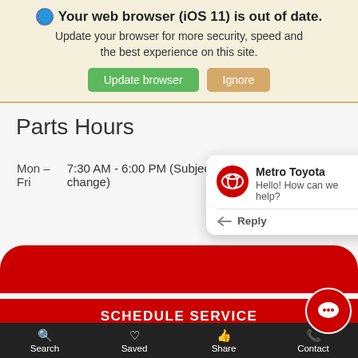🌐 Your web browser (iOS 11) is out of date. Update your browser for more security, speed and the best experience on this site. [Update browser] [Ignore]
Parts Hours
| Day | Hours |
| --- | --- |
| Mon – Fri | 7:30 AM - 6:00 PM (Subject to change) |
[Figure (screenshot): Metro Toyota chat popup with Toyota logo, greeting 'Hello! How can we help?', and a Reply button]
SCHEDULE SERVICE
Search   Saved   Share   Contact